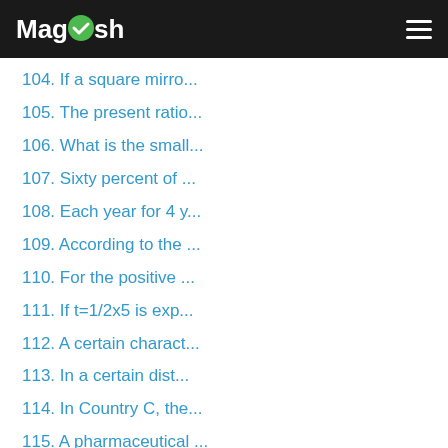Magoosh
104. If a square mirro...
105. The present ratio...
106. What is the small...
107. Sixty percent of ...
108. Each year for 4 y...
109. According to the ...
110. For the positive ...
111. If t=1/2x5 is exp...
112. A certain charact...
113. In a certain dist...
114. In Country C, the...
115. A pharmaceutical ...
116. If p is the produ...
117. If n=3-2, which o...
118. Club X has more t...
119. In order to compl...
120. If s>0 and r/s=s